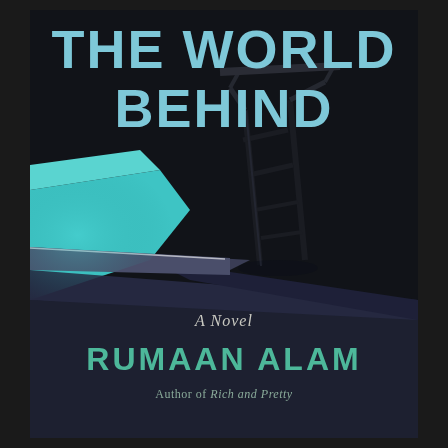THE WORLD BEHIND
[Figure (illustration): Book cover illustration showing a nighttime swimming pool scene with a pool ladder/diving board structure rendered in dark blues and navy tones, with glowing teal pool water visible on the left side]
A Novel
RUMAAN ALAM
Author of Rich and Pretty